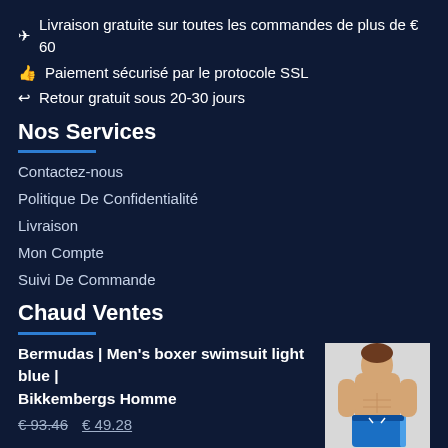✈ Livraison gratuite sur toutes les commandes de plus de € 60
👍 Paiement sécurisé par le protocole SSL
↩ Retour gratuit sous 20-30 jours
Nos Services
Contactez-nous
Politique De Confidentialité
Livraison
Mon Compte
Suivi De Commande
Chaud Ventes
Bermudas | Men's boxer swimsuit light blue | Bikkembergs Homme
[Figure (photo): Man wearing blue boxer swimsuit (Bikkembergs Homme)]
€ 93.46   € 49.28